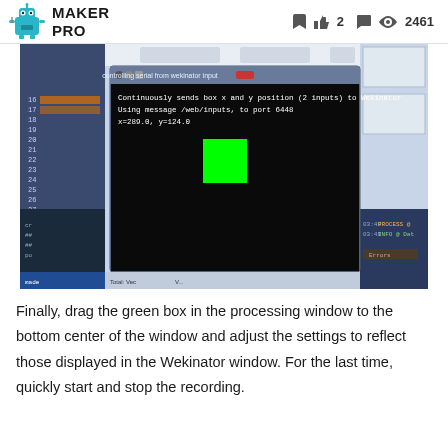MAKER PRO  2  2461
[Figure (screenshot): Screenshot of a Processing/terminal window showing a black canvas with a green square, overlaid on a desktop environment. The terminal window is titled 'controlling serial from wekinator input' and shows text: 'Continuously sends box x and y position (2 inputs) to Wekinator', 'Using message /web/inputs, to port 6448', 'x=289.0, y=124.0'. A bright green square is visible in the center of the black canvas area.]
Finally, drag the green box in the processing window to the bottom center of the window and adjust the settings to reflect those displayed in the Wekinator window. For the last time, quickly start and stop the recording.